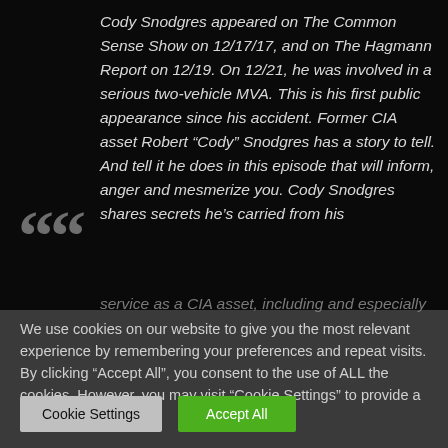Cody Snodgres appeared on The Common Sense Show on 12/17/17, and on The Hagmann Report on 12/19. On 12/21, he was involved in a serious two-vehicle MVA. This is his first public appearance since his accident. Former CIA asset Robert “Cody” Snodgres has a story to tell. And tell it he does in this episode that will inform, anger and mesmerize you. Cody Snodgres shares secrets he’s carried from his service as a CIA asset, including and especially...
We use cookies on our website to give you the most relevant experience by remembering your preferences and repeat visits. By clicking “Accept All”, you consent to the use of ALL the cookies. However, you may visit “Cookie Settings” to provide a controlled consent.